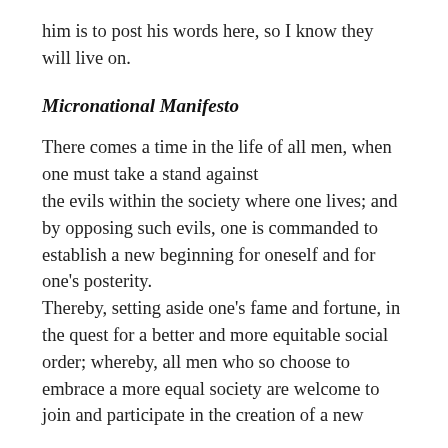him is to post his words here, so I know they will live on.
Micronational Manifesto
There comes a time in the life of all men, when one must take a stand against the evils within the society where one lives; and by opposing such evils, one is commanded to establish a new beginning for oneself and for one's posterity.
Thereby, setting aside one's fame and fortune, in the quest for a better and more equitable social order; whereby, all men who so choose to embrace a more equal society are welcome to join and participate in the creation of a new